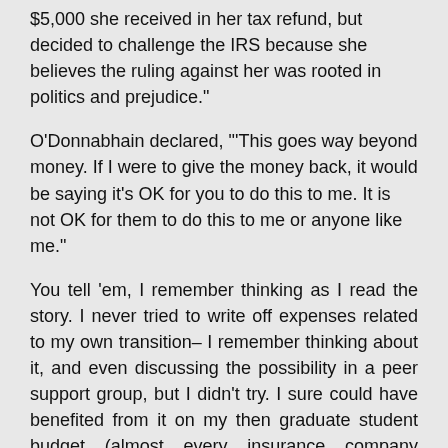$5,000 she received in her tax refund, but decided to challenge the IRS because she believes the ruling against her was rooted in politics and prejudice."
O'Donnabhain declared, "'This goes way beyond money. If I were to give the money back, it would be saying it's OK for you to do this to me. It is not OK for them to do this to me or anyone like me."
You tell 'em, I remember thinking as I read the story. I never tried to write off expenses related to my own transition– I remember thinking about it, and even discussing the possibility in a peer support group, but I didn't try. I sure could have benefited from it on my then graduate student budget (almost every insurance company explicitly denies coverage for any medical care related to transition).
Then last week we got the very good news that the US Tax Court ruled 11-5 in O'Donnabhain's favor in this first-of-its-kind